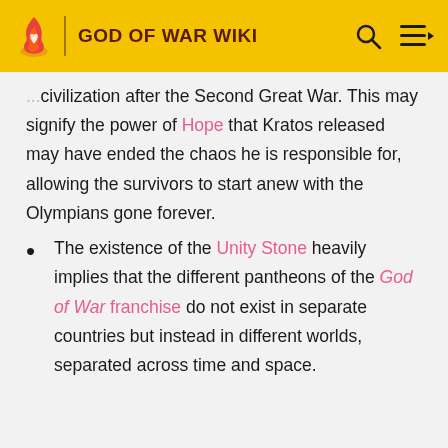GOD OF WAR WIKI
civilization after the Second Great War. This may signify the power of Hope that Kratos released may have ended the chaos he is responsible for, allowing the survivors to start anew with the Olympians gone forever.
The existence of the Unity Stone heavily implies that the different pantheons of the God of War franchise do not exist in separate countries but instead in different worlds, separated across time and space.